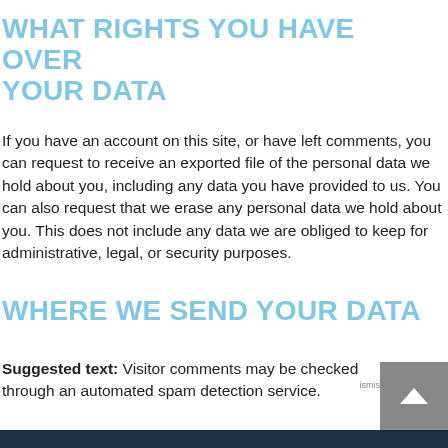WHAT RIGHTS YOU HAVE OVER YOUR DATA
If you have an account on this site, or have left comments, you can request to receive an exported file of the personal data we hold about you, including any data you have provided to us. You can also request that we erase any personal data we hold about you. This does not include any data we are obliged to keep for administrative, legal, or security purposes.
WHERE WE SEND YOUR DATA
Suggested text: Visitor comments may be checked through an automated spam detection service.